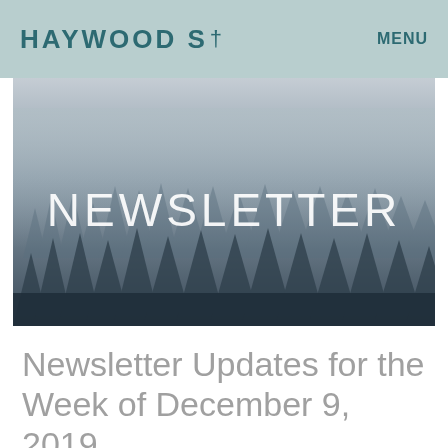HAYWOOD S† MENU
[Figure (photo): Misty forest with tall evergreen trees fading into foggy grey sky, with the word NEWSLETTER overlaid in large white letters]
Newsletter Updates for the Week of December 9, 2019